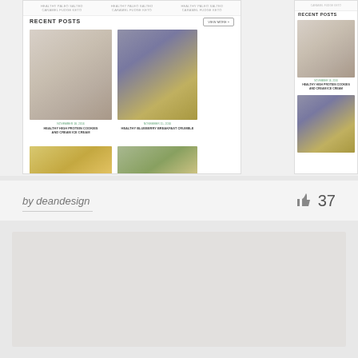[Figure (screenshot): Screenshot of a food blog website showing a 'RECENT POSTS' section with a 2x2 grid of food photos: a cream/ice cream dessert, a blueberry breakfast crumble, and two more food items partially visible. Post captions include 'HEALTHY HIGH PROTEIN COOKIES AND CREAM ICE CREAM' and 'HEALTHY BLUEBERRY BREAKFAST CRUMBLE'. A second narrower panel on the right shows the same blog sidebar with 'RECENT POSTS' and two food images.]
by deandesign
37
[Figure (other): Gray/beige rectangular block at the bottom of the page, likely a placeholder or loading area.]